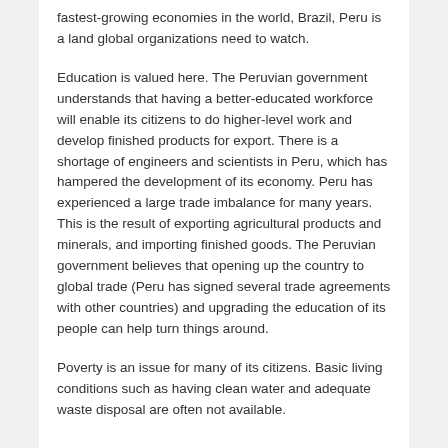fastest-growing economies in the world, Brazil, Peru is a land global organizations need to watch.
Education is valued here. The Peruvian government understands that having a better-educated workforce will enable its citizens to do higher-level work and develop finished products for export. There is a shortage of engineers and scientists in Peru, which has hampered the development of its economy. Peru has experienced a large trade imbalance for many years. This is the result of exporting agricultural products and minerals, and importing finished goods. The Peruvian government believes that opening up the country to global trade (Peru has signed several trade agreements with other countries) and upgrading the education of its people can help turn things around.
Poverty is an issue for many of its citizens. Basic living conditions such as having clean water and adequate waste disposal are often not available.